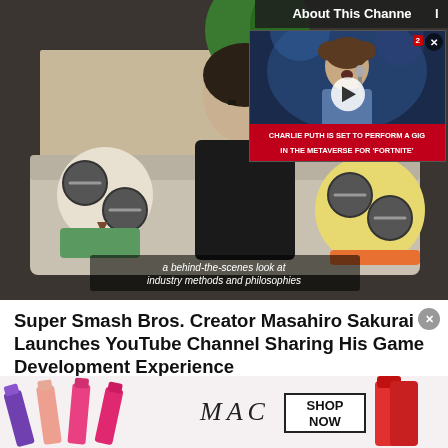[Figure (screenshot): Video player showing Masahiro Sakurai sitting on a couch with animated characters on either side, subtitle text reading 'a behind-the-scenes look at industry methods and philosophies'. An inline overlay ad shows Charlie Puth performing at a microphone with a red caption bar reading 'CHARLIE PUTH IS SET TO PERFORM A GIG IN THE METAVERSE FOR FORTNITE'. A close button (X) is in the top right corner. A small red badge is visible. A play button overlay is shown on the inline ad.]
Super Smash Bros. Creator Masahiro Sakurai Launches YouTube Channel Sharing His Game Development Experience
[Figure (photo): MAC Cosmetics advertisement banner showing colorful lipsticks (purple, pink, red) on left side, MAC logo in italic lettering in center, and a 'SHOP NOW' box. Red lipstick on the right.]